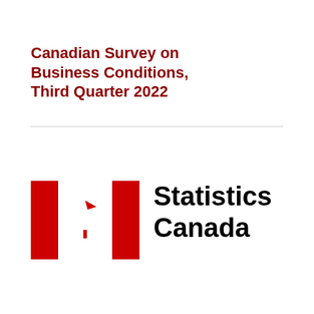Canadian Survey on Business Conditions, Third Quarter 2022
[Figure (logo): Statistics Canada logo: Canadian flag (red and white with maple leaf) followed by the text 'Statistics Canada' in bold black sans-serif font]